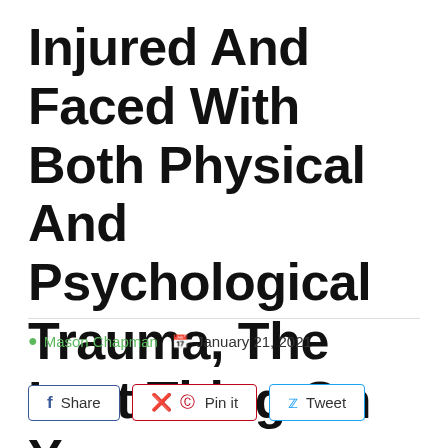Injured And Faced With Both Physical And Psychological Trauma, The Last Thing On Your ...
Mason Chapman  January 21, 2021